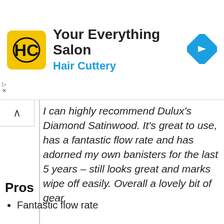[Figure (logo): Hair Cuttery ad banner with yellow HC logo, salon name 'Your Everything Salon', subtitle 'Hair Cuttery', and a blue navigation diamond icon]
I can highly recommend Dulux's Diamond Satinwood. It's great to use, has a fantastic flow rate and has adorned my own banisters for the last 5 years – still looks great and marks wipe off easily. Overall a lovely bit of gear.
Pros
Fantastic flow rate